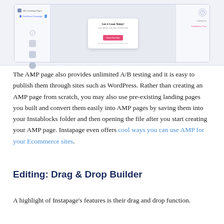[Figure (screenshot): Screenshot of a landing page builder interface showing a left navigation panel with 'My Landing Pages' and 'StartBoost Campaign' menu items, a center preview area with a 'Get A Loan Today!' popup card featuring a pink 'Check Your Rate' button, and a right-side validation panel.]
The AMP page also provides unlimited A/B testing and it is easy to publish them through sites such as WordPress. Rather than creating an AMP page from scratch, you may also use pre-existing landing pages you built and convert them easily into AMP pages by saving them into your Instablocks folder and then opening the file after you start creating your AMP page. Instapage even offers cool ways you can use AMP for your Ecommerce sites.
Editing: Drag & Drop Builder
A highlight of Instapage's features is their drag and drop function.